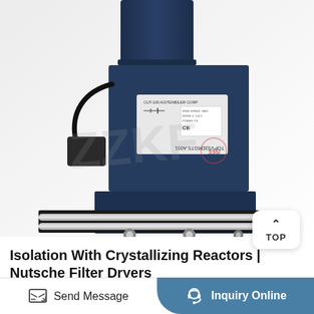[Figure (photo): Close-up photograph of an industrial blue machine unit — likely a motor or drive mechanism — mounted on a black metal base with cylindrical rails. The machine has a dark navy blue casing with a label/nameplate affixed to it showing electrical specifications and a CE mark. A black cable exits from the upper left of the unit. A watermark reading 'ZZKF' is visible across the image.]
Isolation With Crystallizing Reactors | Nutsche Filter Dryers
Send Message
Inquiry Online